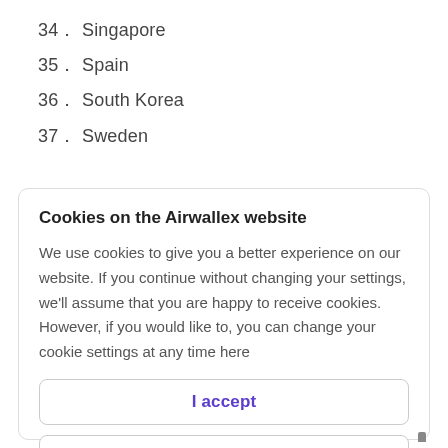34. Singapore
35. Spain
36. South Korea
37. Sweden
Cookies on the Airwallex website
We use cookies to give you a better experience on our website. If you continue without changing your settings, we'll assume that you are happy to receive cookies. However, if you would like to, you can change your cookie settings at any time here
I accept
Find out more